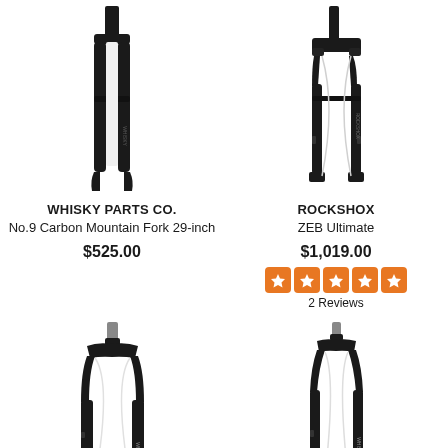[Figure (photo): Whisky Parts Co. No.9 Carbon Mountain Fork 29-inch, black carbon fork product photo]
WHISKY PARTS CO.
No.9 Carbon Mountain Fork 29-inch
$525.00
[Figure (photo): RockShox ZEB Ultimate suspension fork, black product photo]
ROCKSHOX
ZEB Ultimate
$1,019.00
[Figure (infographic): 5-star rating display in orange squares]
2 Reviews
[Figure (photo): Whisky Parts Co. carbon fork product photo, bottom left]
[Figure (photo): Whisky Parts Co. carbon fork product photo, bottom right]